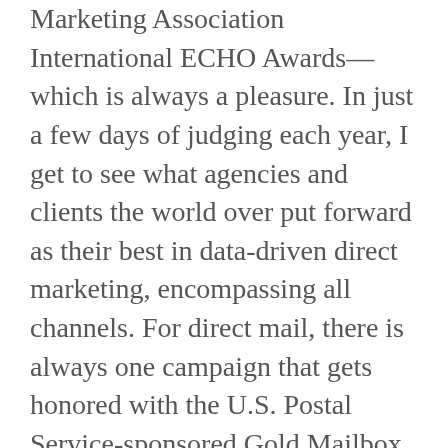Marketing Association International ECHO Awards—which is always a pleasure. In just a few days of judging each year, I get to see what agencies and clients the world over put forward as their best in data-driven direct marketing, encompassing all channels. For direct mail, there is always one campaign that gets honored with the U.S. Postal Service-sponsored Gold Mailbox Award, which recognizes the most innovative use of the medium
I'm now amid judging the 2014 Direct Marketing Association International ECHO Awards—which is always a pleasure. In just a few days of judging each year, I get to see what